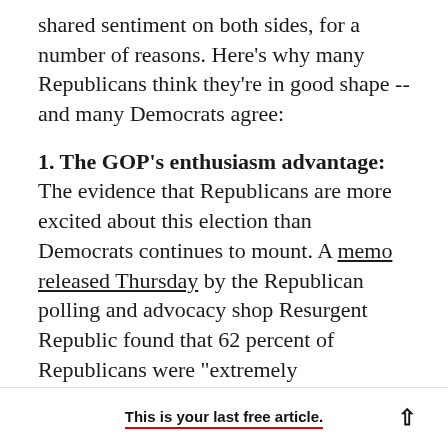shared sentiment on both sides, for a number of reasons. Here's why many Republicans think they're in good shape -- and many Democrats agree:
1. The GOP's enthusiasm advantage: The evidence that Republicans are more excited about this election than Democrats continues to mount. A memo released Thursday by the Republican polling and advocacy shop Resurgent Republic found that 62 percent of Republicans were "extremely enthusiastic" about voting in November, versus just 49 percent of Democrats
This is your last free article.